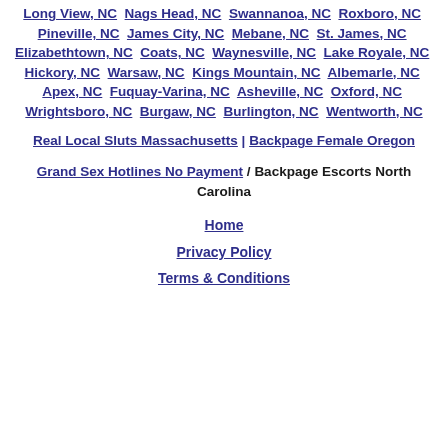Long View, NC  Nags Head, NC  Swannanoa, NC  Roxboro, NC  Pineville, NC  James City, NC  Mebane, NC  St. James, NC  Elizabethtown, NC  Coats, NC  Waynesville, NC  Lake Royale, NC  Hickory, NC  Warsaw, NC  Kings Mountain, NC  Albemarle, NC  Apex, NC  Fuquay-Varina, NC  Asheville, NC  Oxford, NC  Wrightsboro, NC  Burgaw, NC  Burlington, NC  Wentworth, NC
Real Local Sluts Massachusetts | Backpage Female Oregon
Grand Sex Hotlines No Payment / Backpage Escorts North Carolina
Home
Privacy Policy
Terms & Conditions